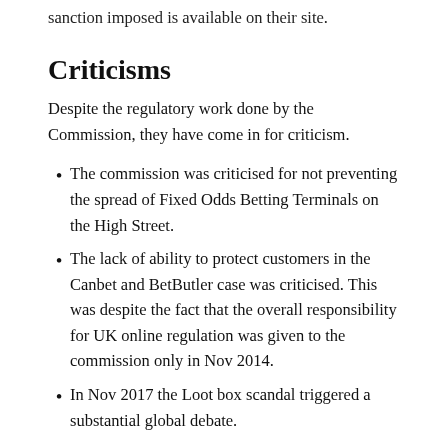sanction imposed is available on their site.
Criticisms
Despite the regulatory work done by the Commission, they have come in for criticism.
The commission was criticised for not preventing the spread of Fixed Odds Betting Terminals on the High Street.
The lack of ability to protect customers in the Canbet and BetButler case was criticised. This was despite the fact that the overall responsibility for UK online regulation was given to the commission only in Nov 2014.
In Nov 2017 the Loot box scandal triggered a substantial global debate.